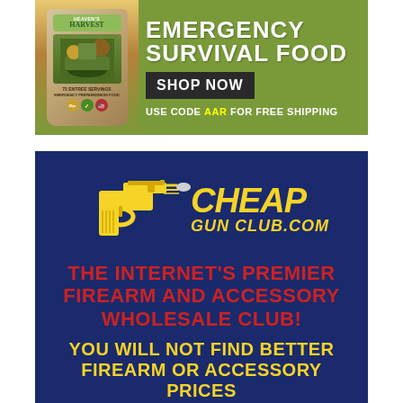[Figure (advertisement): Heaven's Harvest Emergency Survival Food advertisement. Shows product bag on left with olive/green background. Text reads: EMERGENCY SURVIVAL FOOD, SHOP NOW button, USE CODE AAR FOR FREE SHIPPING]
[Figure (advertisement): CheapGunClub.com advertisement on dark navy background. Shows yellow gun logo with bullet. Text: CHEAP GUN CLUB.COM in yellow italic. THE INTERNET'S PREMIER FIREARM AND ACCESSORY WHOLESALE CLUB! in red. YOU WILL NOT FIND BETTER FIREARM OR ACCESSORY PRICES ON THE WEB! BECOME A MEMBER in yellow.]